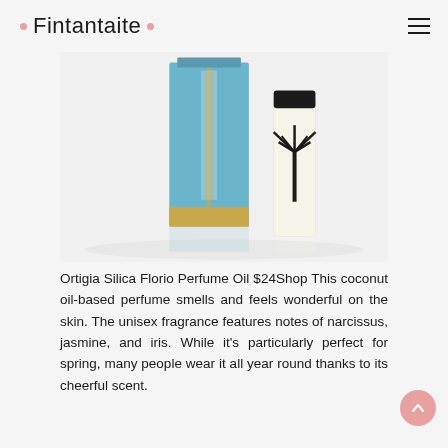Fintantaite
[Figure (photo): Two perfume bottles: a tall blue box-shaped bottle with gold decorative pattern (Ortigia Silica Florio) and a small clear roller bottle with a black palm tree design, shown on a reflective white surface.]
Ortigia Silica Florio Perfume Oil $24Shop This coconut oil-based perfume smells and feels wonderful on the skin. The unisex fragrance features notes of narcissus, jasmine, and iris. While it's particularly perfect for spring, many people wear it all year round thanks to its cheerful scent.